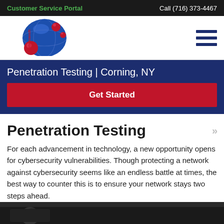Customer Service Portal | Call (716) 373-4467
[Figure (logo): Databranch logo with blue globe and red spheres]
Penetration Testing | Corning, NY
Get Started
Penetration Testing
For each advancement in technology, a new opportunity opens for cybersecurity vulnerabilities. Though protecting a network against cybersecurity seems like an endless battle at times, the best way to counter this is to ensure your network stays two steps ahead.
[Figure (photo): Dark photo strip at bottom of page]